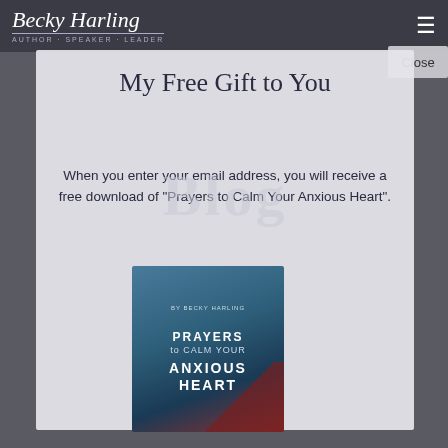Becky Harling
My Free Gift to You
Blog
When you enter your email address, you will receive a free download of "Prayers to Calm Your Anxious Heart".
[Figure (illustration): Book cover for 'Prayers to Calm Your Anxious Heart' by Becky Harling, showing blue and dark tones with a red accent]
Close